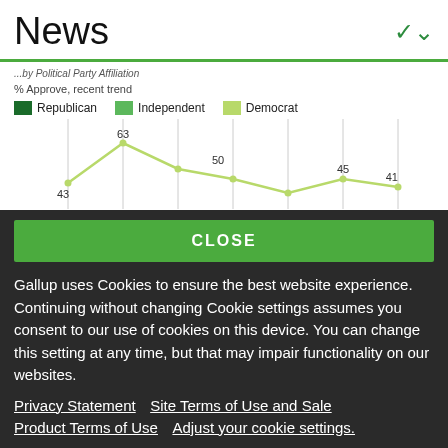News
by Political Party Affiliation
% Approve, recent trend
[Figure (line-chart): Line chart showing approval % by political party affiliation (Republican, Independent, Democrat). Visible data points: 43, 63, 50, 45, 41 for the Democrat (light green) line.]
CLOSE
Gallup uses Cookies to ensure the best website experience. Continuing without changing Cookie settings assumes you consent to our use of cookies on this device. You can change this setting at any time, but that may impair functionality on our websites.
Privacy Statement   Site Terms of Use and Sale
Product Terms of Use  Adjust your cookie settings.